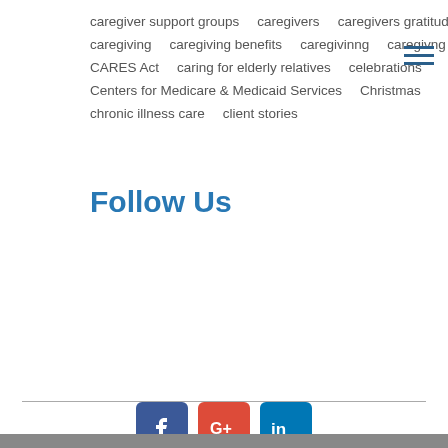caregiver support groups   caregivers   caregivers gratitude list
caregiving   caregiving benefits   caregivinng   caregivng
CARES Act   caring for elderly relatives   celebrations
Centers for Medicare & Medicaid Services   Christmas
chronic illness care   client stories
Follow Us
[Figure (logo): Social media icons: Facebook (blue), Google+ (red), LinkedIn (blue)]